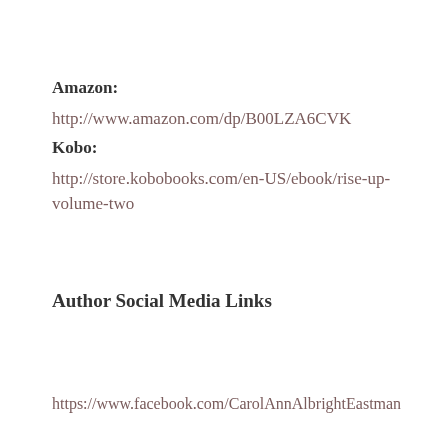Amazon:
http://www.amazon.com/dp/B00LZA6CVK
Kobo:
http://store.kobobooks.com/en-US/ebook/rise-up-volume-two
Author Social Media Links
https://www.facebook.com/CarolAnnAlbrightEastman